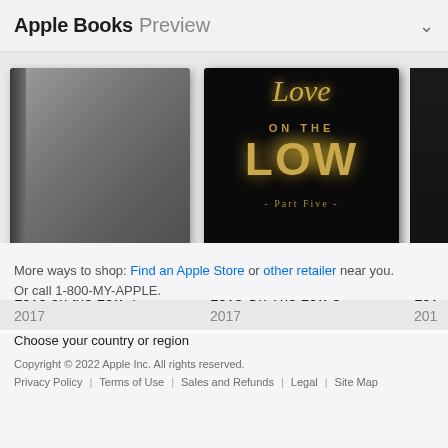Apple Books Preview
[Figure (photo): Book covers for 'Love on the Low 4' (gray hardcover) and 'Love On The Low 5' (black cover with gold text and Mia Black author name), partially cut off third book]
Love on the Low 4
2017
Love On The Low 5
2017
Lov
201
More ways to shop: Find an Apple Store or other retailer near you.
Or call 1-800-MY-APPLE.
Choose your country or region
Copyright © 2022 Apple Inc. All rights reserved.
Privacy Policy | Terms of Use | Sales and Refunds | Legal | Site Map